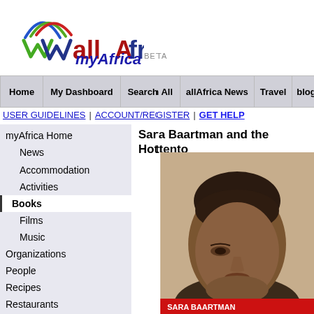[Figure (logo): allAfrica logo with colorful arc lines above stylized W letters and the text 'allAfrica' in dark red/blue]
myAfrica BETA
Home | My Dashboard | Search All | allAfrica News | Travel | blogAfr...
USER GUIDELINES | ACCOUNT/REGISTER | GET HELP
myAfrica Home
News
Accommodation
Activities
Books
Films
Music
Organizations
People
Recipes
Restaurants
Sara Baartman and the Hottento...
[Figure (illustration): Close-up portrait illustration of Sara Baartman's face from a book cover, with red text at bottom]